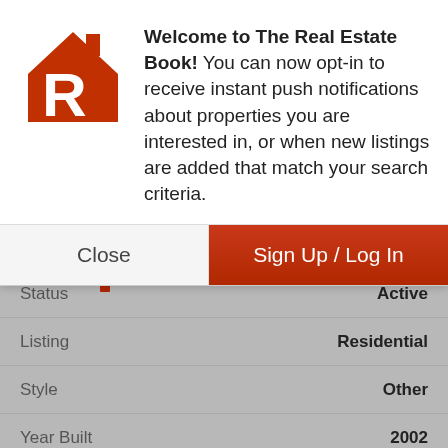[Figure (logo): The Real Estate Book app logo — red house silhouette with white letter R]
Welcome to The Real Estate Book! You can now opt-in to receive instant push notifications about properties you are interested in, or when new listings are added that match your search criteria.
Close
Sign Up / Log In
| Field | Value |
| --- | --- |
| Status | Active |
| Listing | Residential |
| Style | Other |
| Year Built | 2002 |
| MLS® | 10017885 |